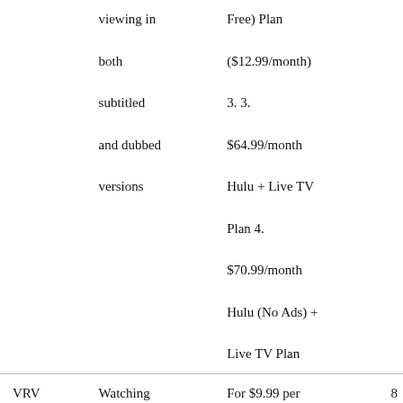|  | Feature | Price |  |
| --- | --- | --- | --- |
|  | viewing in both subtitled and dubbed versions | Free) Plan ($12.99/month) 3. 3. $64.99/month Hulu + Live TV Plan 4. $70.99/month Hulu (No Ads) + Live TV Plan |  |
| VRV | Watching anime in subtitled and dubbed versions from the [cut off] | For $9.99 per month, you can have a premium VRV account. | 8 |